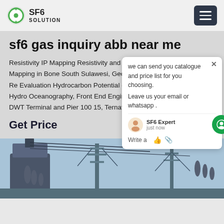SF6 SOLUTION
sf6 gas inquiry abb near me
Resistivity IP Mapping Resistivity and IP Survey for Iron Ore Mapping in Bone South Sulawesi, Geology Geophysics Review and Re Evaluation Hydrocarbon Potential of the Melaw, Hydrography Hydro Oceanography, Front End Engineering Design (FEED) 6500 DWT Terminal and Pier 100 15, Ternate Construction, Halmahera.
Get Price
[Figure (photo): Electric power substation with transformers and power lines]
[Figure (screenshot): Chat popup overlay with SF6 Expert: 'we can send you catalogue and price list for you choosing. Leave us your email or whatsapp.']